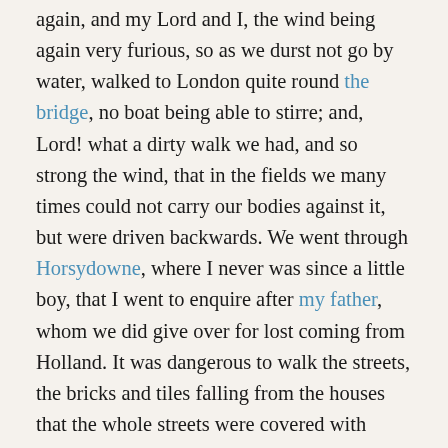again, and my Lord and I, the wind being again very furious, so as we durst not go by water, walked to London quite round the bridge, no boat being able to stirre; and, Lord! what a dirty walk we had, and so strong the wind, that in the fields we many times could not carry our bodies against it, but were driven backwards. We went through Horsydowne, where I never was since a little boy, that I went to enquire after my father, whom we did give over for lost coming from Holland. It was dangerous to walk the streets, the bricks and tiles falling from the houses that the whole streets were covered with them; and whole chimneys, nay, whole houses in two or three places, blowed down. But, above all, the pales on London-bridge on both sides were blown away, so that we were fain to stoop very low for fear of blowing off of the bridge. We could see no boats in the Thames afloat, but what were broke loose, and